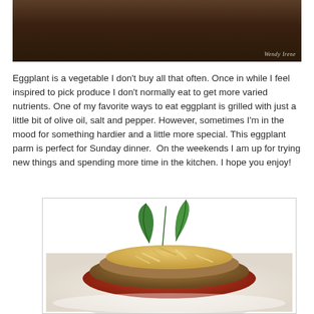[Figure (photo): Top portion of a photo showing a dark wooden surface or food item, with a watermark 'Wendy Irene' in the bottom right corner]
Eggplant is a vegetable I don't buy all that often. Once in while I feel inspired to pick produce I don't normally eat to get more varied nutrients. One of my favorite ways to eat eggplant is grilled with just a little bit of olive oil, salt and pepper. However, sometimes I'm in the mood for something hardier and a little more special. This eggplant parm is perfect for Sunday dinner.  On the weekends I am up for trying new things and spending more time in the kitchen. I hope you enjoy!
[Figure (photo): A plate of eggplant parmesan topped with shredded cheese and fresh basil leaves, served on a white plate]